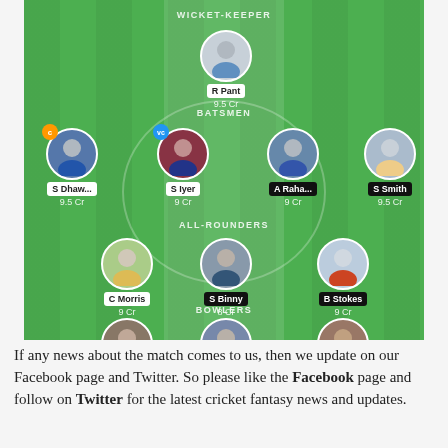[Figure (infographic): Fantasy cricket team lineup on a green field showing 11 players grouped by position: Wicket-Keeper (R Pant 9.5 Cr), Batsmen (S Dhaw... 9.5 Cr with C badge, S Iyer 9 Cr with VC badge, A Raha... 9 Cr, S Smith 9.5 Cr), All-Rounders (C Morris 9 Cr, S Binny 8 Cr, B Stokes 9 Cr), Bowlers (K Raba... 9.5 Cr, S Gopal 9 Cr, J Archer 9 Cr)]
If any news about the match comes to us, then we update on our Facebook page and Twitter. So please like the Facebook page and follow on Twitter for the latest cricket fantasy news and updates.